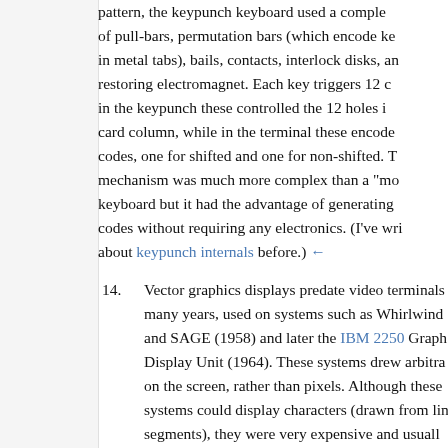pattern, the keypunch keyboard used a complex of pull-bars, permutation bars (which encode key in metal tabs), bails, contacts, interlock disks, an restoring electromagnet. Each key triggers 12 co in the keypunch these controlled the 12 holes in card column, while in the terminal these encode codes, one for shifted and one for non-shifted. T mechanism was much more complex than a "mo keyboard but it had the advantage of generating codes without requiring any electronics. (I've wri about keypunch internals before.) ←
14. Vector graphics displays predate video terminals many years, used on systems such as Whirlwin and SAGE (1958) and later the IBM 2250 Grap Display Unit (1964). These systems drew arbitra on the screen, rather than pixels. Although these systems could display characters (drawn from li segments), they were very expensive and usual for graphics, not as character-based terminals.
15. The CRT/keyboard unit was called the IBM 2260